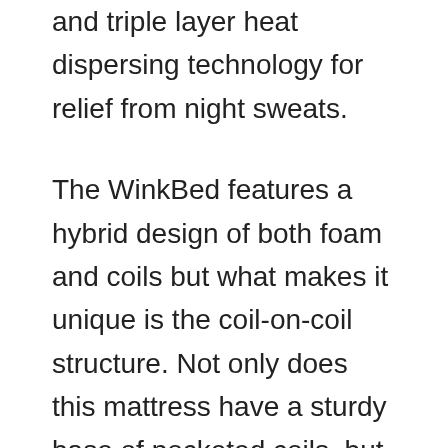and triple layer heat dispersing technology for relief from night sweats.
The WinkBed features a hybrid design of both foam and coils but what makes it unique is the coil-on-coil structure. Not only does this mattress have a sturdy base of pocketed coils, but it also has a layer of microcoils for optimal pressure relief and motion isolation. The coil system is topped with gel-infused foam in a two-layer Euro-pillow top quilted for comfort, designed to pull heat away from the body. This mattress